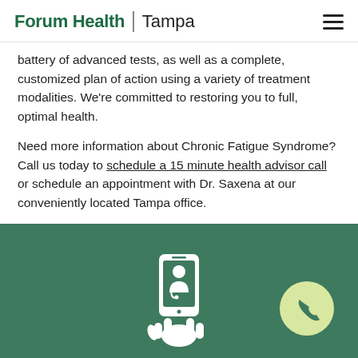Forum Health | Tampa
battery of advanced tests, as well as a complete, customized plan of action using a variety of treatment modalities. We're committed to restoring you to full, optimal health.
Need more information about Chronic Fatigue Syndrome? Call us today to schedule a 15 minute health advisor call or schedule an appointment with Dr. Saxena at our conveniently located Tampa office.
[Figure (illustration): Green footer section with a white telemedicine icon (hand holding a phone with a doctor figure) centered, and a light yellow-green circle with a phone handset icon on the right side.]